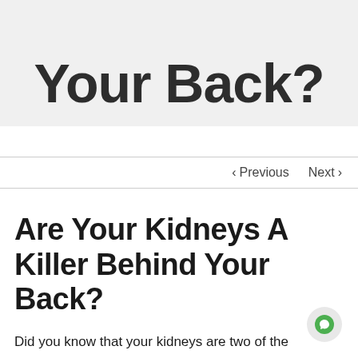Your Back?
< Previous   Next >
Are Your Kidneys A Killer Behind Your Back?
Did you know that your kidneys are two of the